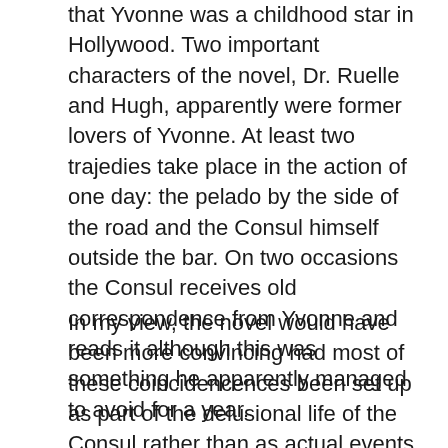that Yvonne was a childhood star in Hollywood. Two important characters of the novel, Dr. Ruelle and Hugh, apparently were former lovers of Yvonne. At least two trajedies take place in the action of one day: the pelado by the side of the road and the Consul himself outside the bar. On two occasions the Consul receives old correspondence from Yvonne and reads it although this was something he apparently managed to avoid for a year.
In my view, the novel would have been more convincing had most of these coincidencences been set up as part of the delusional life of the Consul rather than as actual events in it.